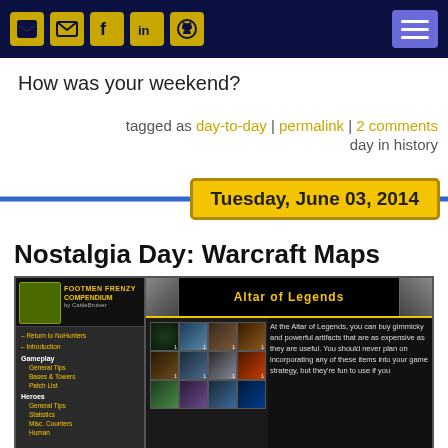[Navigation header with icons: RSS, email, Facebook, LinkedIn, GitHub, and menu button]
How was your weekend?
tagged as day-to-day | permalink | 2 comments
day in history
Tuesday, June 03, 2014
Nostalgia Day: Warcraft Maps
[Figure (screenshot): Screenshot of a Warcraft map guide website called 'Footmen Frenzy Compendium by CattleBruiser' showing the 'Altar of Legends' section with item grid and description text about buying artifacts.]